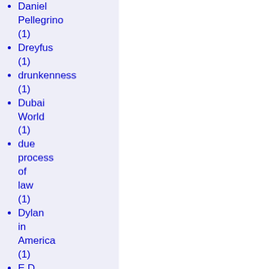Daniel Pellegrino (1)
Dreyfus (1)
drunkenness (1)
Dubai World (1)
due process of law (1)
Dylan in America (1)
E.D. Hill (1)
Earl Butz (1)
Earth